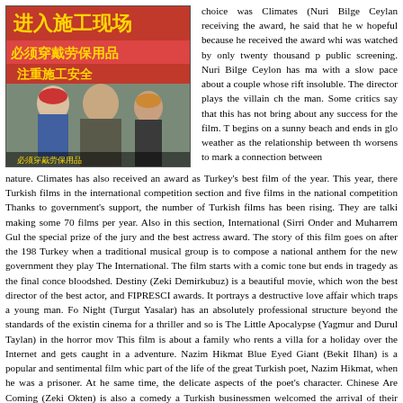[Figure (photo): Movie poster or film still showing a woman and two men in front of a Chinese construction site safety sign with Chinese characters]
choice was Climates (Nuri Bilge Ceylan receiving the award, he said that he w hopeful because he received the award whi was watched by only twenty thousand p public screening. Nuri Bilge Ceylon has ma with a slow pace about a couple whose rift insoluble. The director plays the villain ch the man. Some critics say that this has not bring about any success for the film. T begins on a sunny beach and ends in glo weather as the relationship between th worsens to mark a connection between nature. Climates has also received an award as Turkey's best film of the year. This year, there Turkish films in the international competition section and five films in the national competition Thanks to government's support, the number of Turkish films has been rising. They are talki making some 70 films per year. Also in this section, International (Sirri Onder and Muharrem Gul the special prize of the jury and the best actress award. The story of this film goes on after the 198 Turkey when a traditional musical group is to compose a national anthem for the new government they play The International. The film starts with a comic tone but ends in tragedy as the final conce bloodshed. Destiny (Zeki Demirkubuz) is a beautiful movie, which won the best director of the best actor, and FIPRESCI awards. It portrays a destructive love affair which traps a young man. Fo Night (Turgut Yasalar) has an absolutely professional structure beyond the standards of the existin cinema for a thriller and so is The Little Apocalypse (Yagmur and Durul Taylan) in the horror mov This film is about a family who rents a villa for a holiday over the Internet and gets caught in a adventure. Nazim Hikmat Blue Eyed Giant (Bekit Ilhan) is a popular and sentimental film whic part of the life of the great Turkish poet, Nazim Hikmat, when he was a prisoner. At he same time, the delicate aspects of the poet's character. Chinese Are Coming (Zeki Okten) is also a comedy a Turkish businessmen welcomed the arrival of their Chinese counterparts. Interestingly, Missing Sta Amelio) is about an Italian engineer who discovers a new world in China and creates great comi You cannot discuss Turkish cinema without talking about two other movies. The first film is Fea (Ozer Kiziltan), which won the best actor award for Erkan Can's stunning performance next to th Destiny and is about a religious man who has to confront his mental problems. The second film (Abdullah Oguz) which deals with a delicate story with religious background about the killing